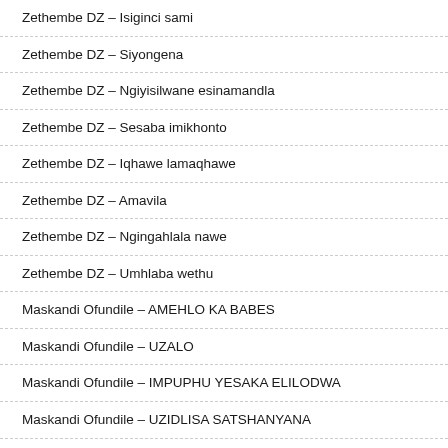Zethembe DZ – Isiginci sami
Zethembe DZ – Siyongena
Zethembe DZ – Ngiyisilwane esinamandla
Zethembe DZ – Sesaba imikhonto
Zethembe DZ – Iqhawe lamaqhawe
Zethembe DZ – Amavila
Zethembe DZ – Ngingahlala nawe
Zethembe DZ – Umhlaba wethu
Maskandi Ofundile – AMEHLO KA BABES
Maskandi Ofundile – UZALO
Maskandi Ofundile – IMPUPHU YESAKA ELILODWA
Maskandi Ofundile – UZIDLISA SATSHANYANA
Maskandi Ofundile – NGISAMILE OTSHWALENI
Maskandi Ofundile – SABATHA